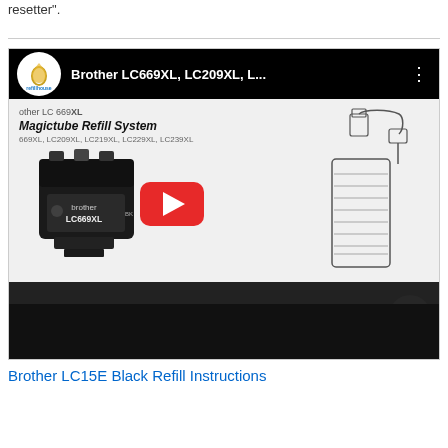resetter".
[Figure (screenshot): YouTube video thumbnail for 'Brother LC669XL, LC209XL, L...' by refillhouse channel, showing a Magictube Refill System with Brother LC669XL ink cartridge and bottle diagram, with a red play button overlay and a dark scroll-up button in the bottom right corner.]
Brother LC15E Black Refill Instructions